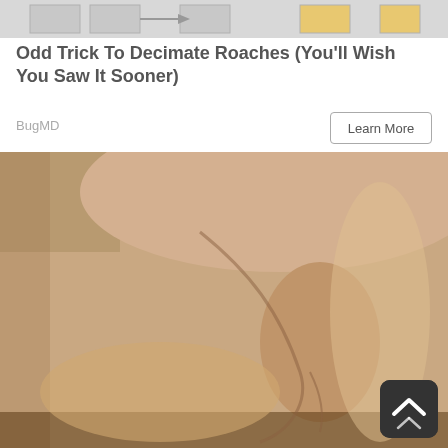[Figure (illustration): Top portion of an advertisement showing illustrated graphic, partially cropped]
Odd Trick To Decimate Roaches (You'll Wish You Saw It Sooner)
BugMD
Learn More
[Figure (photo): Close-up photo of a person's legs and hand, skin tones visible, appears to be a massage or medical advertisement image]